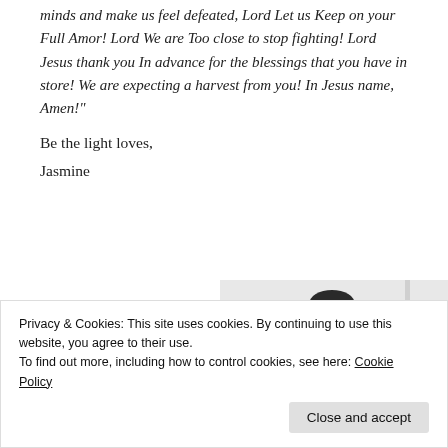minds and make us feel defeated, Lord Let us Keep on your Full Amor! Lord We are Too close to stop fighting! Lord Jesus thank you In advance for the blessings that you have in store! We are expecting a harvest from you! In Jesus name, Amen!"
Be the light loves,
Jasmine
[Figure (photo): Black and white photo of a woman in a white dress with dark hair pulled back, wearing a dark necklace, standing and looking to the side]
Privacy & Cookies: This site uses cookies. By continuing to use this website, you agree to their use.
To find out more, including how to control cookies, see here: Cookie Policy